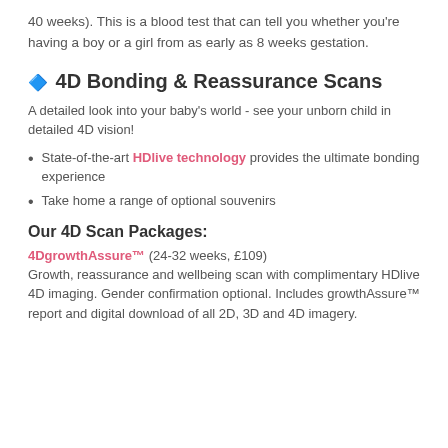40 weeks). This is a blood test that can tell you whether you're having a boy or a girl from as early as 8 weeks gestation.
🔷 4D Bonding & Reassurance Scans
A detailed look into your baby's world - see your unborn child in detailed 4D vision!
State-of-the-art HDlive technology provides the ultimate bonding experience
Take home a range of optional souvenirs
Our 4D Scan Packages:
4DgrowthAssure™ (24-32 weeks, £109)
Growth, reassurance and wellbeing scan with complimentary HDlive 4D imaging. Gender confirmation optional. Includes growthAssure™ report and digital download of all 2D, 3D and 4D imagery.